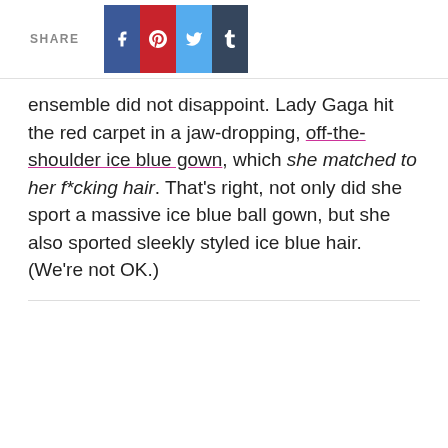SHARE
ensemble did not disappoint. Lady Gaga hit the red carpet in a jaw-dropping, off-the-shoulder ice blue gown, which she matched to her f*cking hair. That's right, not only did she sport a massive ice blue ball gown, but she also sported sleekly styled ice blue hair. (We're not OK.)